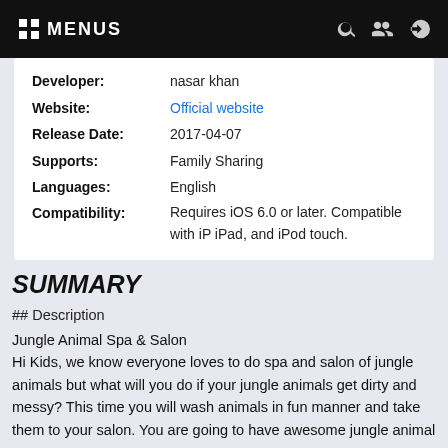MENUS
| Developer: | nasar khan |
| Website: | Official website |
| Release Date: | 2017-04-07 |
| Supports: | Family Sharing |
| Languages: | English |
| Compatibility: | Requires iOS 6.0 or later. Compatible with iPhone, iPad, and iPod touch. |
SUMMARY
## Description
Jungle Animal Spa & Salon
Hi Kids, we know everyone loves to do spa and salon of jungle animals but what will you do if your jungle animals get dirty and messy? This time you will wash animals in fun manner and take them to your salon. You are going to have awesome jungle animal...